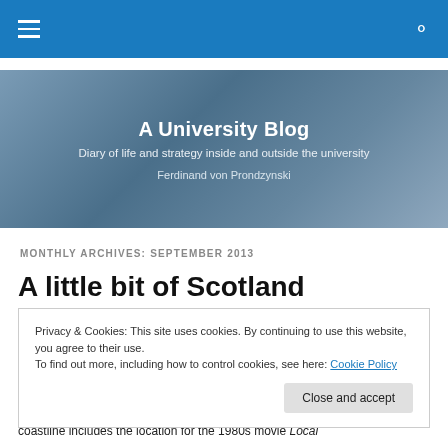A University Blog — navigation bar with hamburger menu and search icon
[Figure (illustration): Blog hero banner with blue-grey abstract background showing the blog title 'A University Blog', subtitle 'Diary of life and strategy inside and outside the university', and author name 'Ferdinand von Prondzynski']
MONTHLY ARCHIVES: SEPTEMBER 2013
A little bit of Scotland
Privacy & Cookies: This site uses cookies. By continuing to use this website, you agree to their use.
To find out more, including how to control cookies, see here: Cookie Policy
Close and accept
coastline includes the location for the 1980s movie Local